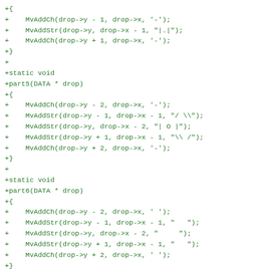[Figure (other): Source code diff fragment in green monospace font showing C functions part5, part6, and napsome with MvAddCh/MvAddStr calls]